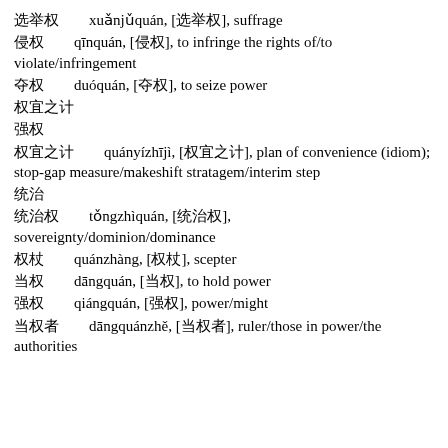选举权　　xuǎnjǔquán, [选举权], suffrage
侵权　　qīnquán, [侵权], to infringe the rights of/to violate/infringement
夺权　　duóquán, [夺权], to seize power
权宜之计　　quányízhījì, [权宜之计], plan of convenience (idiom); stop-gap measure/makeshift stratagem/interim step
统治权　　tǒngzhìquán, [统治权], sovereignty/dominion/dominance
权杖　　quánzhàng, [权杖], scepter
当权　　dāngquán, [当权], to hold power
强权　　qiángquán, [强权], power/might
当权者　　dāngquánzhě, [当权者], ruler/those in power/the authorities